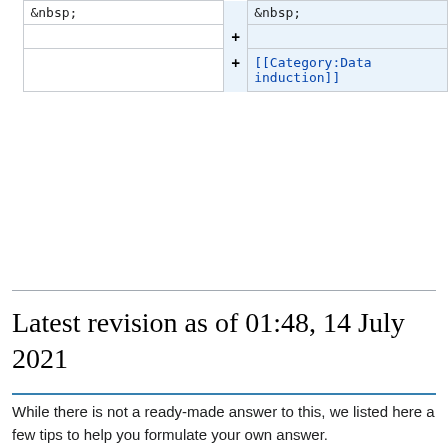|  | &nbsp; |  | &nbsp; |
| --- | --- | --- | --- |
|  |  |  |  |
|  |  |  | [[Category:Data induction]] |
Latest revision as of 01:48, 14 July 2021
While there is not a ready-made answer to this, we listed here a few tips to help you formulate your own answer.
Provide the information needed to interpret, reuse and reproduce your results. This is what journal publishers usually require, most of them provides guidelines and examples of which data you should share (see our publisher policies page).